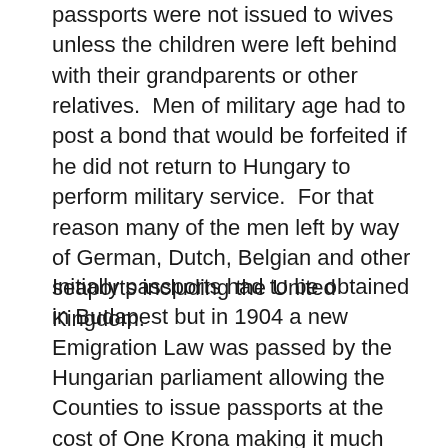passports were not issued to wives unless the children were left behind with their grandparents or other relatives.  Men of military age had to post a bond that would be forfeited if he did not return to Hungary to perform military service.  For that reason many of the men left by way of German, Dutch, Belgian and other seaports including the United Kingdom.
Initially passports had to be obtained in Budapest but in 1904 a new Emigration Law was passed by the Hungarian parliament allowing the Counties to issue passports at the cost of One Krona making it much more convenient for the would-be emigrant.  At the time of issuing the passport the applicant also had to provide the equivalent of $ 8.00 US to cover the costs of his steamship fare.  An agreement had been signed by the Hungarian government with the Cunard White